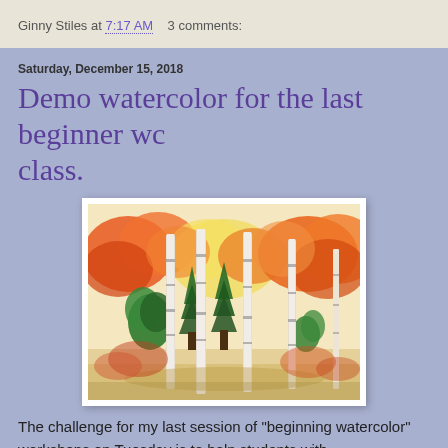Ginny Stiles at 7:17 AM    3 comments:
Saturday, December 15, 2018
Demo watercolor for the last beginner wc class.
[Figure (illustration): A watercolor painting of birch trees in autumn, with orange and red foliage, green pine trees in the background, against a yellow-white sky. The painting is on white paper with a white border frame.]
The challenge for my last session of "beginning watercolor" workshops on Tuesday is to help students with